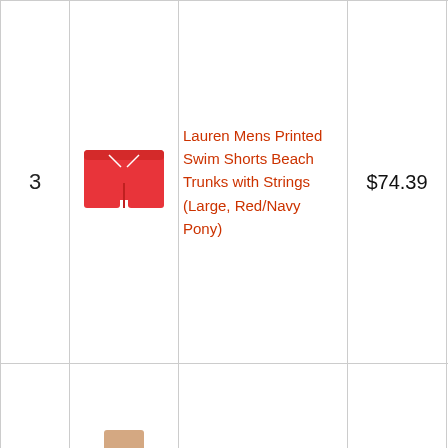| # | Image | Product Name | Price | Action |
| --- | --- | --- | --- | --- |
| 3 | [red swim shorts image] | Lauren Mens Printed Swim Shorts Beach Trunks with Strings (Large, Red/Navy Pony) | $74.39 | Buy on Amazon |
| 4 | [teal board shorts image] | Polo Ralph Lauren Mens Board Shorts Logo Swim Trunks | $47.99 | Buy on Amazon |